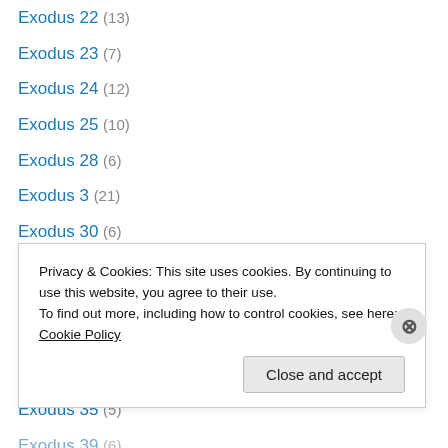Exodus 22 (13)
Exodus 23 (7)
Exodus 24 (12)
Exodus 25 (10)
Exodus 28 (6)
Exodus 3 (21)
Exodus 30 (6)
Exodus 31 (7)
Exodus 32 (14)
Exodus 33 (17)
Exodus 34 (20)
Exodus 35 (5)
Exodus 39 (6)
Privacy & Cookies: This site uses cookies. By continuing to use this website, you agree to their use.
To find out more, including how to control cookies, see here: Cookie Policy